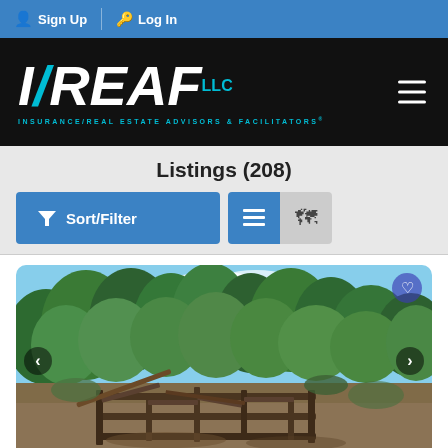Sign Up | Log In
[Figure (logo): IREAF LLC logo — Insurance/Real Estate Advisors & Facilitators]
Listings (208)
Sort/Filter button and view toggle buttons (list view and map view)
[Figure (photo): Outdoor photo showing a dilapidated wooden structure foundation/frame surrounded by trees and brush under a blue sky]